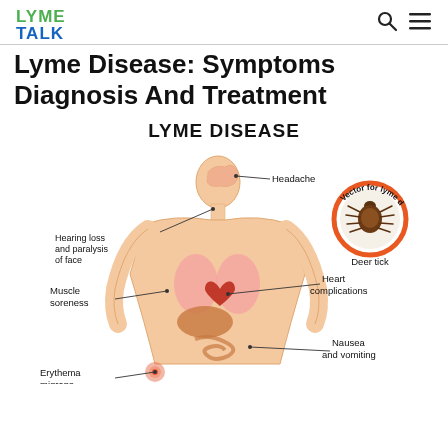LYME TALK
Lyme Disease: Symptoms Diagnosis And Treatment
[Figure (infographic): Medical infographic titled LYME DISEASE showing a human body silhouette with labeled symptoms: Headache (pointing to head), Hearing loss and paralysis of face (pointing to neck/face area), Muscle soreness (pointing to left chest/arm area), Erythema migrans (pointing to lower left with rash illustration), Heart complications (pointing to heart on right), Nausea and vomiting (pointing to lower right abdomen). A circular badge on the upper right shows a deer tick illustration with the text 'Vector for lyme disease' curved around it and 'Deer tick' below.]